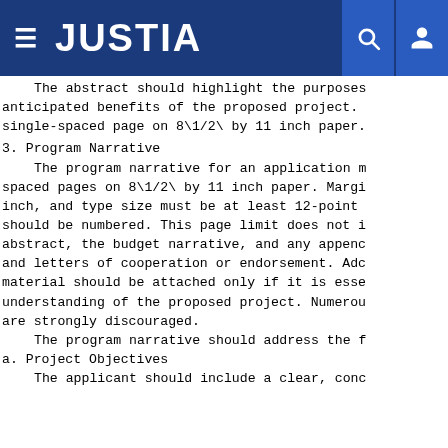JUSTIA
The abstract should highlight the purposes, anticipated benefits of the proposed project. single-spaced page on 8\1/2\ by 11 inch paper.
3. Program Narrative
The program narrative for an application must be spaced pages on 8\1/2\ by 11 inch paper. Margins inch, and type size must be at least 12-point. Pages should be numbered. This page limit does not include the abstract, the budget narrative, and any appendices and letters of cooperation or endorsement. Additional material should be attached only if it is essential to understanding of the proposed project. Numerous appendices are strongly discouraged.
The program narrative should address the following:
a. Project Objectives
The applicant should include a clear, concise